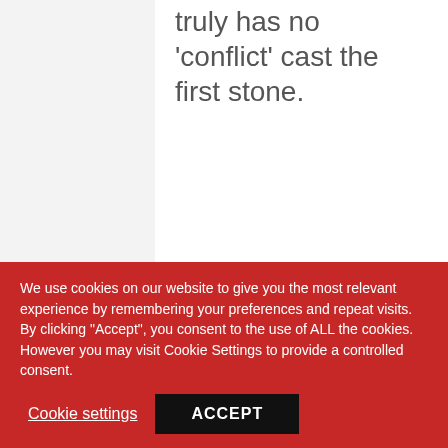truly has no 'conflict' cast the first stone.
[Figure (other): Red rounded rectangle button labeled 'Post a Reply']
devrie
FRIDAY,
We use cookies on our website to give you the most relevant experience by remembering your preferences and repeat visits. By clicking "Accept", you consent to the use of ALL the cookies. However you may visit Cookie Settings to provide a controlled consent.
Cookie settings
ACCEPT